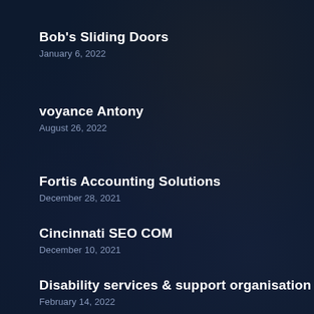Bob's Sliding Doors
January 6, 2022
voyance Antony
August 26, 2022
Fortis Accounting Solutions
December 28, 2021
Cincinnati SEO COM
December 10, 2021
Disability services & support organisation
February 14, 2022